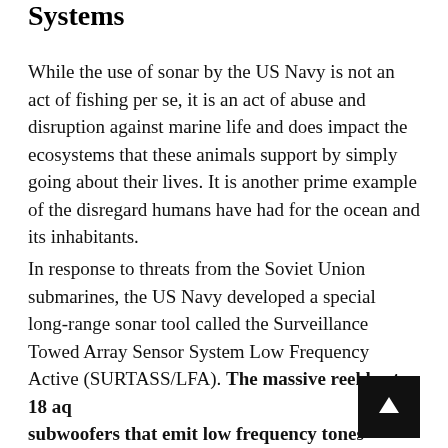Systems
While the use of sonar by the US Navy is not an act of fishing per se, it is an act of abuse and disruption against marine life and does impact the ecosystems that these animals support by simply going about their lives. It is another prime example of the disregard humans have had for the ocean and its inhabitants.
In response to threats from the Soviet Union submarines, the US Navy developed a special long-range sonar tool called the Surveillance Towed Array Sensor System Low Frequency Active (SURTASS/LFA). The massive reel hosts 18 aq... subwoofers that emit low frequency tones between